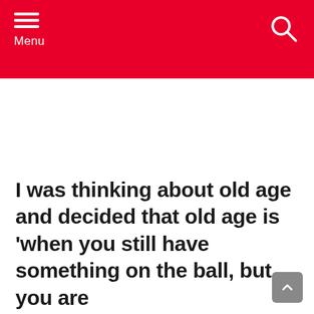Menu
I was thinking about old age and decided that old age is 'when you still have something on the ball, but you are just too tired to bounce it.'
I've gotten that dreaded furniture disease. That's when